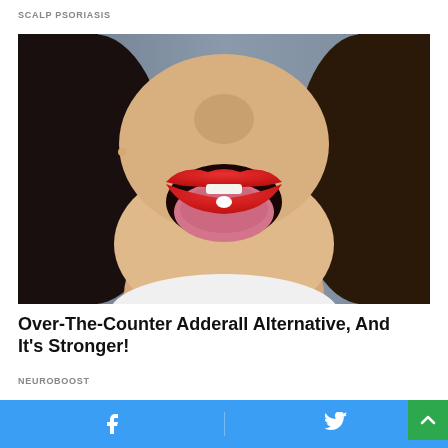SCALP PSORIASIS
[Figure (photo): Close-up photo of a woman with red lipstick sticking out her tongue with a small white pill/tablet on it, dark hair, light background]
Over-The-Counter Adderall Alternative, And It's Stronger!
NEUROBOOST
[Figure (photo): Partial view of a second article image showing food items including what appears to be a red sauce and white cream/dessert items]
Facebook share button | Twitter share button